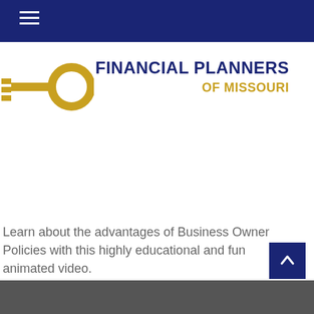[Figure (logo): Financial Planners of Missouri logo featuring a key icon in gold/yellow and the text FINANCIAL PLANNERS OF MISSOURI in navy and gold]
Learn about the advantages of Business Owner Policies with this highly educational and fun animated video.